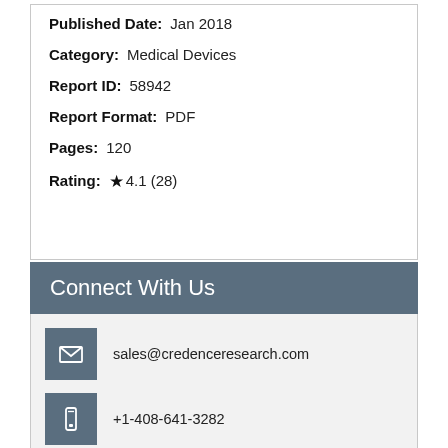Published Date: Jan 2018
Category: Medical Devices
Report ID: 58942
Report Format: PDF
Pages: 120
Rating: ★4.1 (28)
Connect With Us
sales@credenceresearch.com
+1-408-641-3282